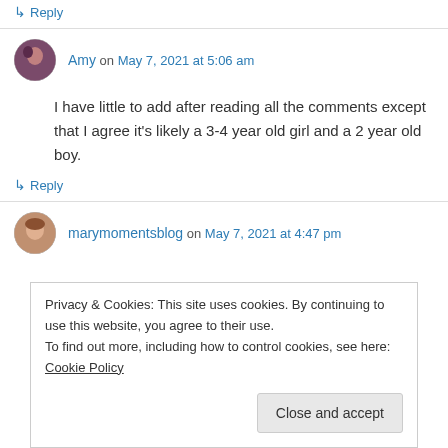↳ Reply
Amy on May 7, 2021 at 5:06 am
I have little to add after reading all the comments except that I agree it's likely a 3-4 year old girl and a 2 year old boy.
↳ Reply
marymomentsblog on May 7, 2021 at 4:47 pm
Privacy & Cookies: This site uses cookies. By continuing to use this website, you agree to their use.
To find out more, including how to control cookies, see here: Cookie Policy
Close and accept